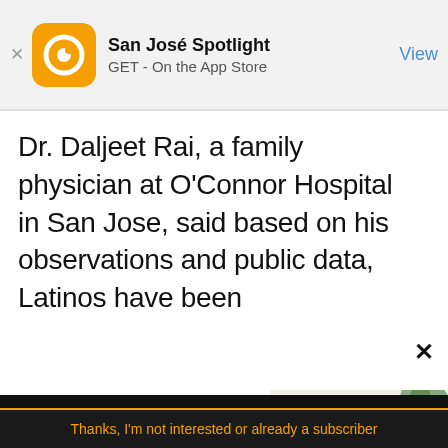[Figure (screenshot): App store banner for San José Spotlight with orange circular logo, app name, GET On the App Store text, and View button]
Dr. Daljeet Rai, a family physician at O'Connor Hospital in San Jose, said based on his observations and public data, Latinos have been
[Figure (screenshot): San José Spotlight advertisement: logo with 'Where San Jose locals start the day.' headline, sanjosespotlight.com URL, tablet/phone image on right]
[Figure (screenshot): Newsletter signup section on black background with email address input and SUBSCRIBE button]
Thanks, I'm not interested or already a subscriber